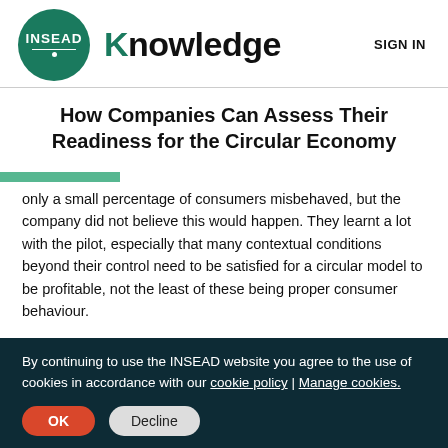[Figure (logo): INSEAD Knowledge logo with green circle containing INSEAD text and Knowledge wordmark]
How Companies Can Assess Their Readiness for the Circular Economy
only a small percentage of consumers misbehaved, but the company did not believe this would happen. They learnt a lot with the pilot, especially that many contextual conditions beyond their control need to be satisfied for a circular model to be profitable, not the least of these being proper consumer behaviour.
Is remanufacturing always better?
By continuing to use the INSEAD website you agree to the use of cookies in accordance with our cookie policy | Manage cookies.